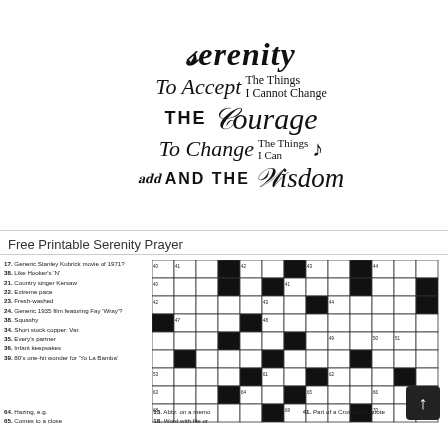[Figure (illustration): Serenity Prayer typographic art featuring stylized calligraphy and bold text: 'Serenity / To Accept The Things I Cannot Change / THE Courage / To Change The Things I Can / AND THE Wisdom']
Free Printable Serenity Prayer
[Figure (other): Crossword puzzle grid — partially filled black-and-white crossword with numbered cells]
17. Generic Stanley Kubrick movie of 1971? 38. Like Hooker's 'N' 21. Country singer Kersaw 22. Extreme pace 23. Fresh-washed 24. Generic 1935 film featuring Fay Wray? 38. Squashy 34. Short stock copper: Var. 35. Every's partner 36. Infant keepsakes 39. 80's one-hit wonder for 'Yo La Bamba'
64. Hazing, e.g. 65. Comes to a close
13. Abbr. on a memo 18. Word with file or
41. Part of a Crossword quote